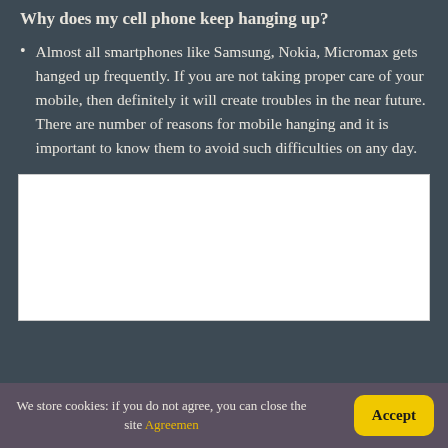Why does my cell phone keep hanging up?
Almost all smartphones like Samsung, Nokia, Micromax gets hanged up frequently. If you are not taking proper care of your mobile, then definitely it will create troubles in the near future. There are number of reasons for mobile hanging and it is important to know them to avoid such difficulties on any day.
[Figure (other): White rectangular image/advertisement placeholder]
We store cookies: if you do not agree, you can close the site Agreemen
Accept